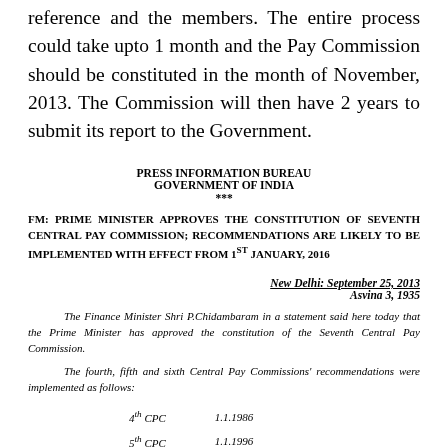reference and the members. The entire process could take upto 1 month and the Pay Commission should be constituted in the month of November, 2013. The Commission will then have 2 years to submit its report to the Government.
PRESS INFORMATION BUREAU
GOVERNMENT OF INDIA
***
FM: PRIME MINISTER APPROVES THE CONSTITUTION OF SEVENTH CENTRAL PAY COMMISSION; RECOMMENDATIONS ARE LIKELY TO BE IMPLEMENTED WITH EFFECT FROM 1ST JANUARY, 2016
New Delhi: September 25, 2013
Asvina 3, 1935
The Finance Minister Shri P.Chidambaram in a statement said here today that the Prime Minister has approved the constitution of the Seventh Central Pay Commission.
The fourth, fifth and sixth Central Pay Commissions' recommendations were implemented as follows:
| Commission | Date |
| --- | --- |
| 4th CPC | 1.1.1986 |
| 5th CPC | 1.1.1996 |
| 6th CPC | 1.1.2006 |